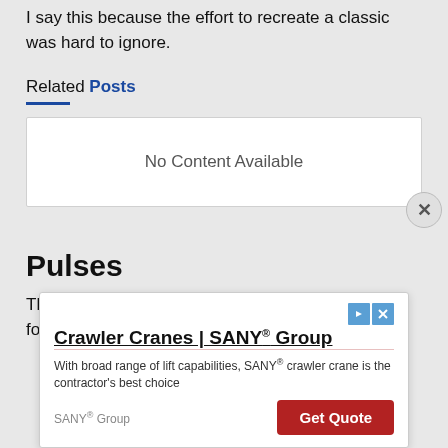I say this because the effort to recreate a classic was hard to ignore.
Related Posts
No Content Available
Pulses
The pluses for this picture, for me, include the following:
Crawler Cranes | SANY® Group
With broad range of lift capabilities, SANY® crawler crane is the contractor's best choice
SANY® Group
Get Quote